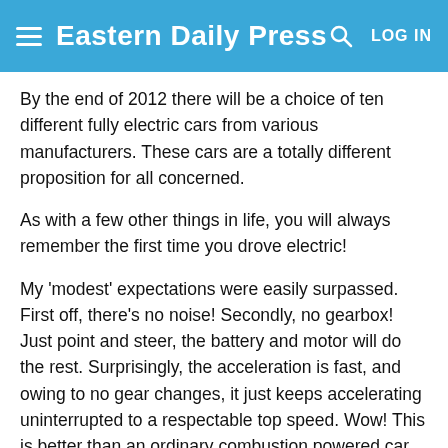Eastern Daily Press — LOG IN
By the end of 2012 there will be a choice of ten different fully electric cars from various manufacturers. These cars are a totally different proposition for all concerned.
As with a few other things in life, you will always remember the first time you drove electric!
My 'modest' expectations were easily surpassed. First off, there's no noise! Secondly, no gearbox! Just point and steer, the battery and motor will do the rest. Surprisingly, the acceleration is fast, and owing to no gear changes, it just keeps accelerating uninterrupted to a respectable top speed. Wow! This is better than an ordinary combustion powered car. Of course, with the exception of one tiny detail: Once the battery is flat, you need to make other arrangements. The 100